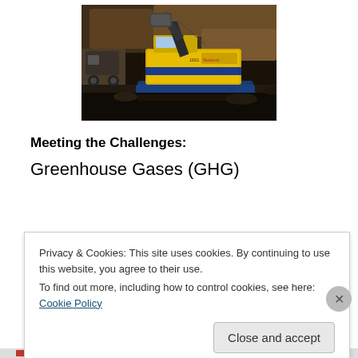[Figure (photo): Mining excavator / shovel machine (yellow and blue) with Suncor branding, operating in an open-pit mine or oil sands site. The machine has P&H branding visible and the number 101G. Heavy equipment and dark earth/sand surroundings.]
Meeting the Challenges:
Greenhouse Gases (GHG)
Privacy & Cookies: This site uses cookies. By continuing to use this website, you agree to their use.
To find out more, including how to control cookies, see here: Cookie Policy
Close and accept